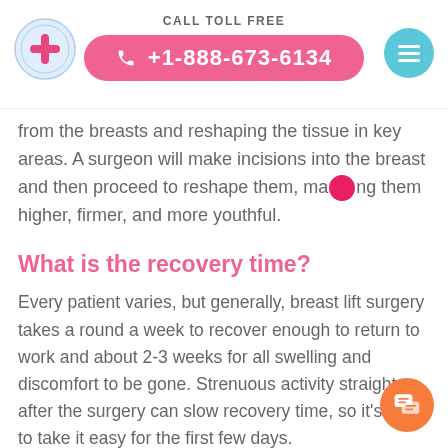CALL TOLL FREE +1-888-673-6134
from the breasts and reshaping the tissue in key areas. A surgeon will make incisions into the breast and then proceed to reshape them, making them higher, firmer, and more youthful.
What is the recovery time?
Every patient varies, but generally, breast lift surgery takes a round a week to recover enough to return to work and about 2-3 weeks for all swelling and discomfort to be gone. Strenuous activity straight after the surgery can slow recovery time, so it's best to take it easy for the first few days.
Are There Good Surgeons In Cancun?